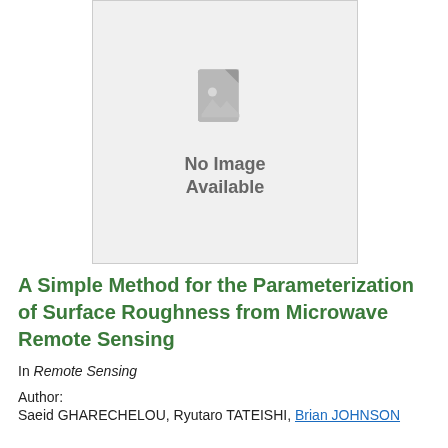[Figure (other): No Image Available placeholder with a document/image icon]
A Simple Method for the Parameterization of Surface Roughness from Microwave Remote Sensing
In Remote Sensing
Author:
Saeid GHARECHELOU, Ryutaro TATEISHI, Brian JOHNSON